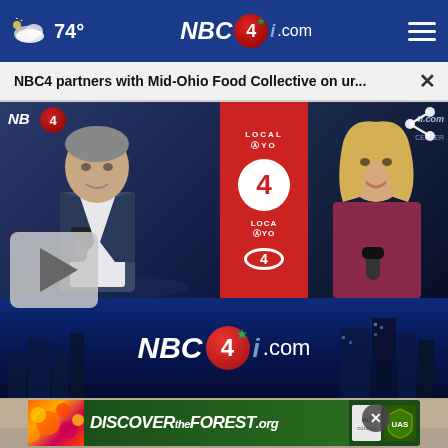74° NBC4i.com
NBC4 partners with Mid-Ohio Food Collective on ur...
[Figure (screenshot): NBC4 news studio broadcast screenshot showing two anchors at desk with NBC4 logo and red Local 4 signage]
[Figure (screenshot): NBC4i.com brand video lower panel with city skyline silhouette in background]
[Figure (screenshot): Partial face visible at bottom of screen with close button]
[Figure (screenshot): DiscoverTheForest.org advertisement banner with Ad Council and US Forest Service logos]